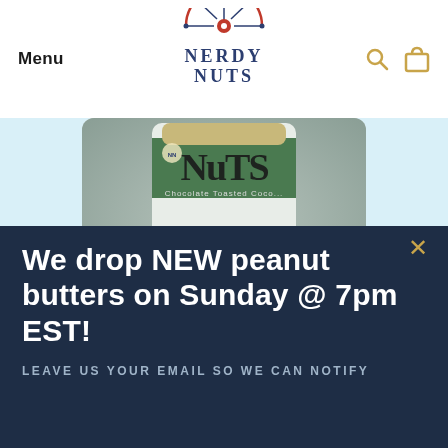Menu | Nerdy Nuts [logo] [search icon] [bag icon]
[Figure (photo): Close-up photo of a Nerdy Nuts Chocolate Toasted Coconut Peanut Butter jar surrounded by shredded coconut flakes. The jar has a green label with white text reading 'Chocolate Toasted Coco...' and the Nerdy Nuts logo is visible.]
CHOCOLATE TOASTED COCONUT PEANUT
We drop NEW peanut butters on Sunday @ 7pm EST!
LEAVE US YOUR EMAIL SO WE CAN NOTIFY